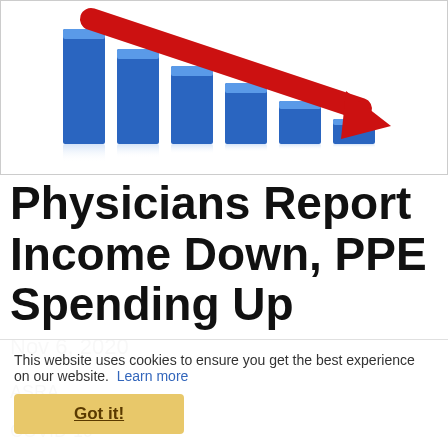[Figure (illustration): Declining blue bar chart with a red downward arrow overlaid, suggesting falling income. Bars decrease in height from left to right with a large red arrow pointing down-right.]
Physicians Report Income Down, PPE Spending Up
Nov 6, 2020
ASRA
COVID-19
This website uses cookies to ensure you get the best experience on our website. Learn more
Got it!